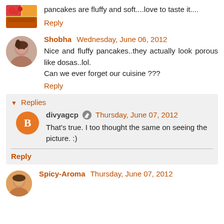pancakes are fluffy and soft....love to taste it....
Reply
Shobha Wednesday, June 06, 2012
Nice and fluffy pancakes..they actually look porous like dosas..lol.
Can we ever forget our cuisine ???
Reply
Replies
divyagcp  Thursday, June 07, 2012
That's true. I too thought the same on seeing the picture. :)
Reply
Spicy-Aroma Thursday, June 07, 2012